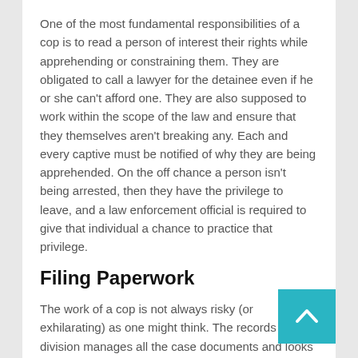One of the most fundamental responsibilities of a cop is to read a person of interest their rights while apprehending or constraining them. They are obligated to call a lawyer for the detainee even if he or she can't afford one. They are also supposed to work within the scope of the law and ensure that they themselves aren't breaking any. Each and every captive must be notified of why they are being apprehended. On the off chance a person isn't being arrested, then they have the privilege to leave, and a law enforcement official is required to give that individual a chance to practice that privilege.
Filing Paperwork
The work of a cop is not always risky (or exhilarating) as one might think. The records division manages all the case documents and looks after them in conjunction with the evidence. To assist the records department each police officer needs to fill out certain paperwork after every ar or transfer. They are obligated to write a thorough repo each incident, cataloguing all the proof they have collected.